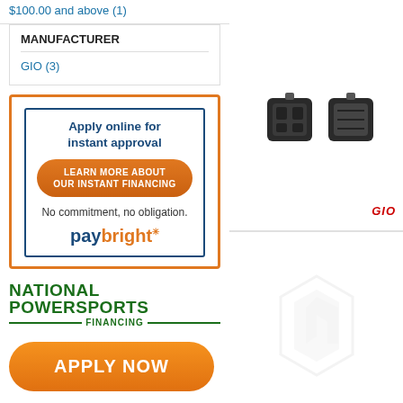$100.00 and above (1)
MANUFACTURER
GIO (3)
[Figure (infographic): PayBright financing ad box with orange border. Inside: blue inner border, text 'Apply online for instant approval', orange pill button 'LEARN MORE ABOUT OUR INSTANT FINANCING', text 'No commitment, no obligation.', PayBright logo in blue and orange.]
[Figure (logo): National Powersports Financing logo in dark green with decorative lines, followed by an orange 'APPLY NOW' pill button.]
[Figure (photo): Two black plastic pedals (front and back views) on white background with GIO logo in red bottom right.]
[Figure (logo): Magento watermark logo, large grey M shape, faintly visible on white background.]